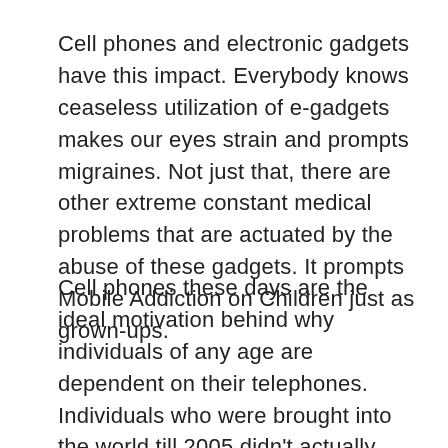Cell phones and electronic gadgets have this impact. Everybody knows ceaseless utilization of e-gadgets makes our eyes strain and prompts migraines. Not just that, there are other extreme constant medical problems that are actuated by the abuse of these gadgets. It prompts Mobile Addiction on Children just as grown-ups.
Cell phones these days are the ideal motivation behind why individuals of any age are dependent on their telephones. Individuals who were brought into the world till 2005 didn't actually grow up with any e-gadgets, however the age bunch after that